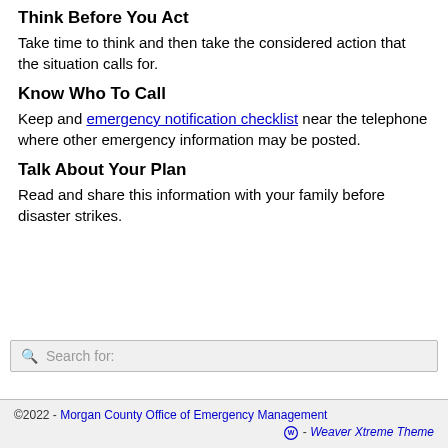Think Before You Act
Take time to think and then take the considered action that the situation calls for.
Know Who To Call
Keep and emergency notification checklist near the telephone where other emergency information may be posted.
Talk About Your Plan
Read and share this information with your family before disaster strikes.
Search for:
©2022 - Morgan County Office of Emergency Management  - Weaver Xtreme Theme